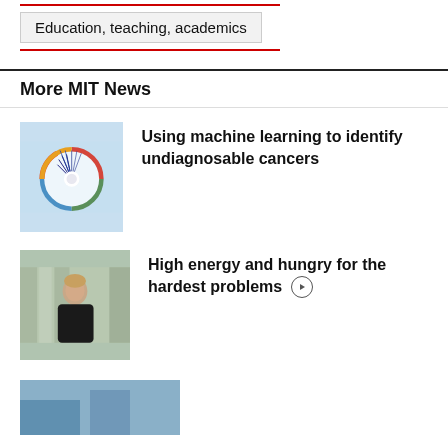Education, teaching, academics
More MIT News
[Figure (illustration): Circular data visualization with colorful arcs and spiky dark lines radiating from center on a light blue background]
Using machine learning to identify undiagnosable cancers
[Figure (photo): Portrait of a woman with short blonde hair wearing a black shirt, standing outdoors with blurred building columns in background]
High energy and hungry for the hardest problems
[Figure (photo): Partial view of another news item image at the bottom of the page]